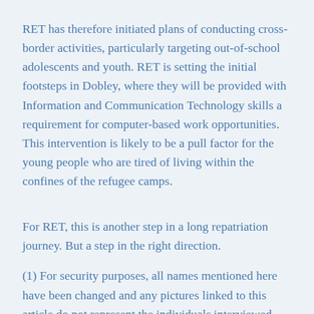RET has therefore initiated plans of conducting cross-border activities, particularly targeting out-of-school adolescents and youth. RET is setting the initial footsteps in Dobley, where they will be provided with Information and Communication Technology skills a requirement for computer-based work opportunities. This intervention is likely to be a pull factor for the young people who are tired of living within the confines of the refugee camps.
For RET, this is another step in a long repatriation journey. But a step in the right direction.
(1) For security purposes, all names mentioned here have been changed and any pictures linked to this article do not represent the individuals interviewed, but offer a